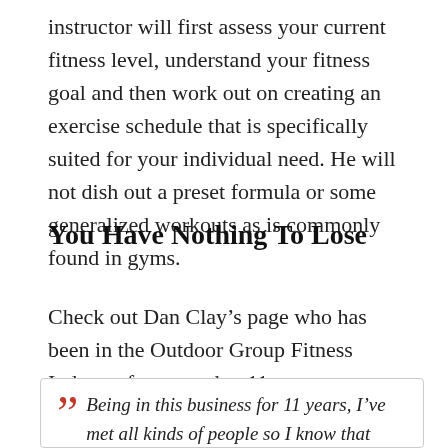instructor will first assess your current fitness level, understand your fitness goal and then work out on creating an exercise schedule that is specifically suited for your individual need. He will not dish out a preset formula or some generalized workouts as is commonly found in gyms.
You Have Nothing To Lose
Check out Dan Clay's page who has been in the Outdoor Group Fitness Industry for more that 11 years:
Being in this business for 11 years, I've  met all kinds of people so I know that despite the